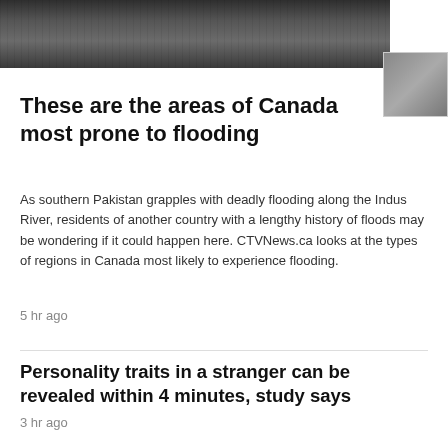[Figure (photo): Black and white photograph of flooded area, cropped at top of page with a smaller thumbnail image overlapping]
These are the areas of Canada most prone to flooding
As southern Pakistan grapples with deadly flooding along the Indus River, residents of another country with a lengthy history of floods may be wondering if it could happen here. CTVNews.ca looks at the types of regions in Canada most likely to experience flooding.
5 hr ago
Personality traits in a stranger can be revealed within 4 minutes, study says
3 hr ago
Serena loses to Tomljanovic at U.S. Open; could be last match
3 hr ago